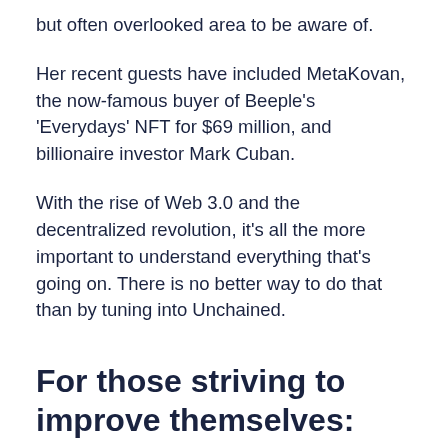but often overlooked area to be aware of.
Her recent guests have included MetaKovan, the now-famous buyer of Beeple's 'Everydays' NFT for $69 million, and billionaire investor Mark Cuban.
With the rise of Web 3.0 and the decentralized revolution, it's all the more important to understand everything that's going on. There is no better way to do that than by tuning into Unchained.
For those striving to improve themselves: